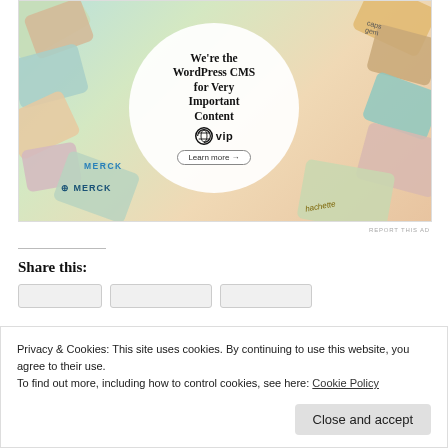[Figure (illustration): WordPress VIP advertisement showing colorful brand logos/cards in background with a white circular overlay containing the text 'We're the WordPress CMS for Very Important Content', the WordPress VIP logo, and a 'Learn more' button.]
REPORT THIS AD
Share this:
Privacy & Cookies: This site uses cookies. By continuing to use this website, you agree to their use. To find out more, including how to control cookies, see here: Cookie Policy
Close and accept